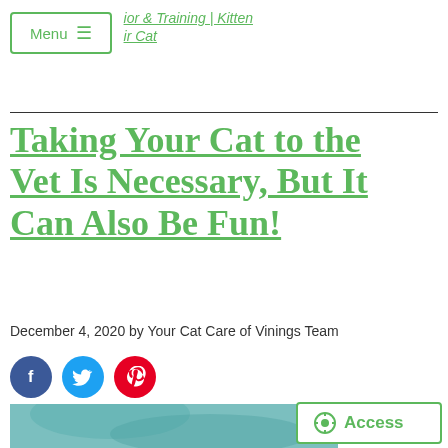ior & Training | Kitten | ir Cat
Taking Your Cat to the Vet Is Necessary, But It Can Also Be Fun!
December 4, 2020 by Your Cat Care of Vinings Team
[Figure (infographic): Social media share icons: Facebook (blue), Twitter (light blue), Pinterest (red)]
[Figure (photo): Photo of a veterinarian in teal scrubs examining a cat]
Access